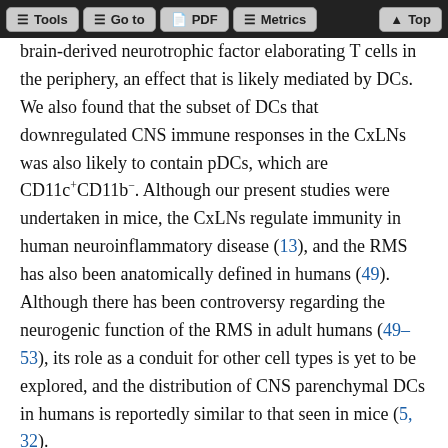Tools | Go to | PDF | Metrics | Top
brain-derived neurotrophic factor elaborating T cells in the periphery, an effect that is likely mediated by DCs. We also found that the subset of DCs that downregulated CNS immune responses in the CxLNs was also likely to contain pDCs, which are CD11c+CD11b−. Although our present studies were undertaken in mice, the CxLNs regulate immunity in human neuroinflammatory disease (13), and the RMS has also been anatomically defined in humans (49). Although there has been controversy regarding the neurogenic function of the RMS in adult humans (49–53), its role as a conduit for other cell types is yet to be explored, and the distribution of CNS parenchymal DCs in humans is reportedly similar to that seen in mice (5, 32).
Lastly, the RMS–immune cell migratory pathway is